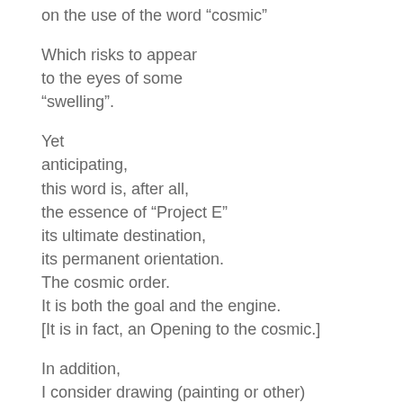on the use of the word “cosmic”
Which risks to appear
to the eyes of some
“swelling”.
Yet
anticipating,
this word is, after all,
the essence of “Project E”
its ultimate destination,
its permanent orientation.
The cosmic order.
It is both the goal and the engine.
[It is in fact, an Opening to the cosmic.]
In addition,
I consider drawing (painting or other)
as an adventure
of re-cognition,
a cosmic journey.